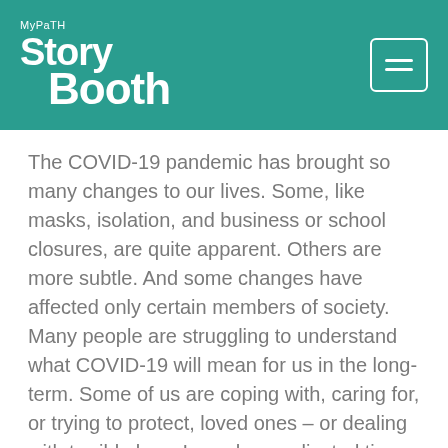MyPaTH Story Booth
The COVID-19 pandemic has brought so many changes to our lives. Some, like masks, isolation, and business or school closures, are quite apparent. Others are more subtle. And some changes have affected only certain members of society. Many people are struggling to understand what COVID-19 will mean for us in the long-term. Some of us are coping with, caring for, or trying to protect, loved ones – or dealing with terrible loss. In such complicated times, stories may help listeners to understand what this pandemic means to our communities. Therefore, we have created this “special collection” of narratives